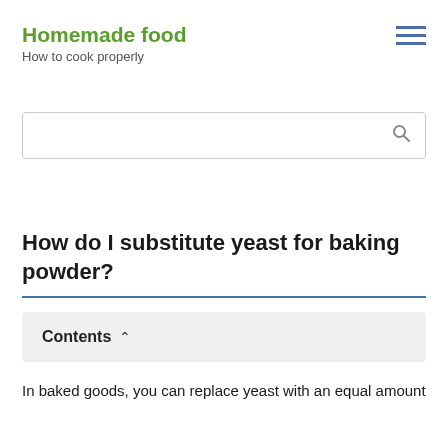Homemade food
How to cook properly
[Figure (other): Hamburger menu icon with three horizontal blue lines]
[Figure (other): Search input box with a search (magnifying glass) icon on the right]
How do I substitute yeast for baking powder?
Contents
In baked goods, you can replace yeast with an equal amount